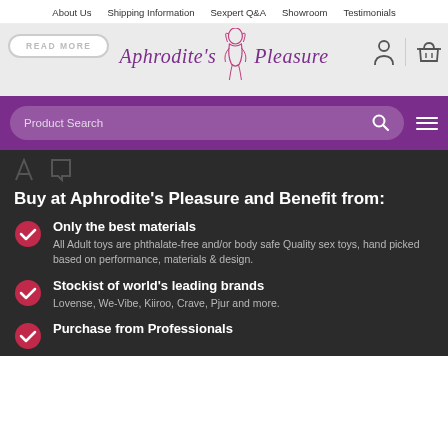About Us  Shipping Information  Sexpert Q&A  Showroom  Testimonials
[Figure (logo): Aphrodite's Pleasure logo with cursive purple text and a line-art figure of a woman]
[Figure (screenshot): Purple search bar with 'Product Search' placeholder, search icon, and hamburger menu icon]
Buy at Aphrodite's Pleasure and Benefit from:
Only the best materials - All Adult toys are phthalate-free and/or body safe Quality sex toys, hand picked based on performance, materials & design.
Stockist of world's leading brands - Lovense, We-Vibe, Kiiroo, Crave, Pjur and more.
Purchase from Professionals